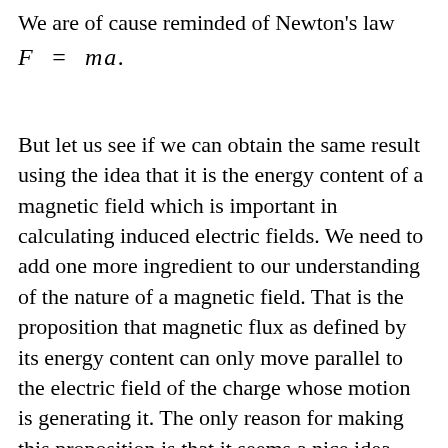We are of cause reminded of Newton's law
But let us see if we can obtain the same result using the idea that it is the energy content of a magnetic field which is important in calculating induced electric fields. We need to add one more ingredient to our understanding of the nature of a magnetic field. That is the proposition that magnetic flux as defined by its energy content can only move parallel to the electric field of the charge whose motion is generating it. The only reason for making this proposition is that it seems a nice idea